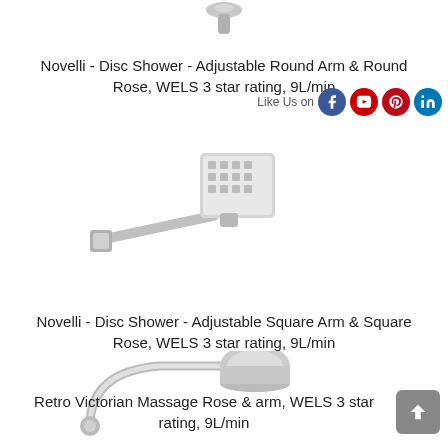[Figure (photo): Partial image of a chrome shower head at the very top of the page, cropped]
Novelli - Disc Shower - Adjustable Round Arm & Round Rose, WELS 3 star rating, 9L/min
[Figure (photo): Chrome disc shower head with adjustable square arm and square rose, shown at an angle]
Novelli - Disc Shower - Adjustable Square Arm & Square Rose, WELS 3 star rating, 9L/min
[Figure (photo): Chrome retro victorian style shower rose with curved arm, wall mounted]
Retro Victorian Massage Rose & arm, WELS 3 star rating, 9L/min